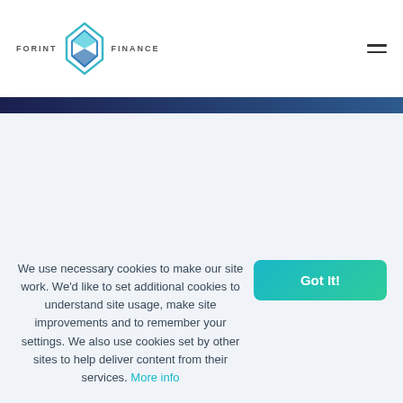[Figure (logo): Forint Finance logo with teal diamond geometric icon and uppercase text FORINT on the left and FINANCE on the right]
[Figure (other): Hamburger menu icon with two horizontal lines]
We use necessary cookies to make our site work. We'd like to set additional cookies to understand site usage, make site improvements and to remember your settings. We also use cookies set by other sites to help deliver content from their services. More info